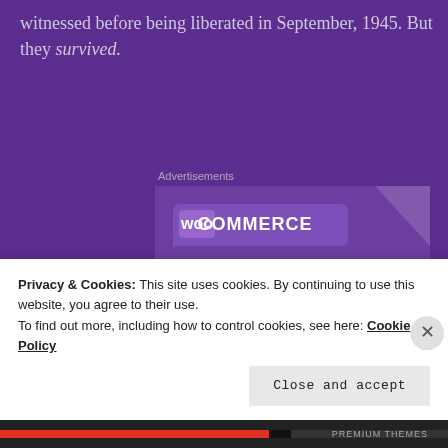witnessed before being liberated in September, 1945. But they survived.
Advertisements
[Figure (illustration): WooCommerce advertisement banner showing the WooCommerce logo on a purple background with teal and cyan decorative shapes, with text 'How to start selling subscriptions online' and a purple call-to-action button.]
Privacy & Cookies: This site uses cookies. By continuing to use this website, you agree to their use. To find out more, including how to control cookies, see here: Cookie Policy
Close and accept